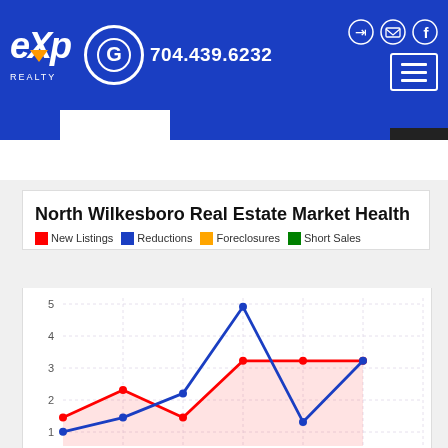eXp Realty | 704.439.6232
North Wilkesboro Real Estate Market Health
[Figure (line-chart): Line chart showing New Listings (red) and Reductions (blue) over several months. Y-axis from 0 to 5. Red line starts at 1, rises to ~1.85, drops to ~1, rises to 3, stays at 3, then 3. Blue line rises steeply to ~4.9, then drops. Pink shaded area under red line.]